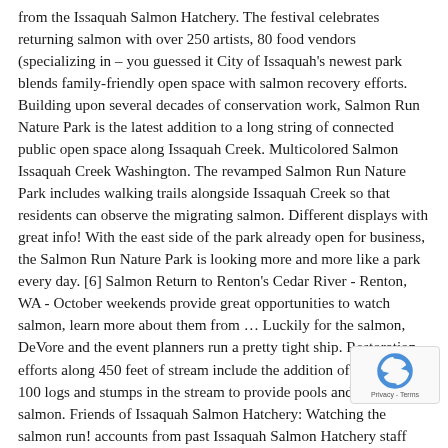from the Issaquah Salmon Hatchery. The festival celebrates returning salmon with over 250 artists, 80 food vendors (specializing in – you guessed it City of Issaquah's newest park blends family-friendly open space with salmon recovery efforts. Building upon several decades of conservation work, Salmon Run Nature Park is the latest addition to a long string of connected public open space along Issaquah Creek. Multicolored Salmon Issaquah Creek Washington. The revamped Salmon Run Nature Park includes walking trails alongside Issaquah Creek so that residents can observe the migrating salmon. Different displays with great info! With the east side of the park already open for business, the Salmon Run Nature Park is looking more and more like a park every day. [6] Salmon Return to Renton's Cedar River - Renton, WA - October weekends provide great opportunities to watch salmon, learn more about them from … Luckily for the salmon, DeVore and the event planners run a pretty tight ship. Restoration efforts along 450 feet of stream include the addition of more than 100 logs and stumps in the stream to provide pools and refuge for salmon. Friends of Issaquah Salmon Hatchery: Watching the salmon run! accounts from past Issaquah Salmon Hatchery staff and former University of Washington graduate student T.J. Berggren estimated escapement of early-run kokanee into Creek ranged from 3,000-1 5,000. Hatchery worker Brad checks the raceways at Coleman National Fish Hatchery, approximately 200,000 winter-run Chinook salmon were housed